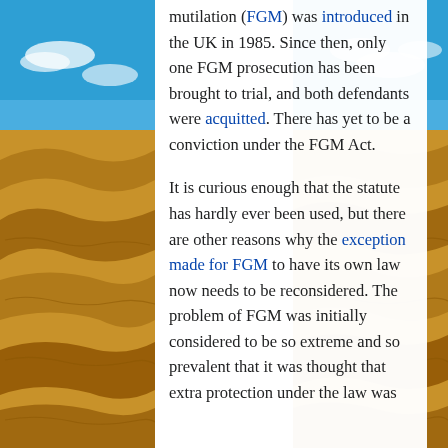[Figure (photo): Background photograph of golden sand dunes under a blue sky with clouds, visible on the left and right sides of the page behind a white text panel.]
mutilation (FGM) was introduced in the UK in 1985. Since then, only one FGM prosecution has been brought to trial, and both defendants were acquitted. There has yet to be a conviction under the FGM Act.

It is curious enough that the statute has hardly ever been used, but there are other reasons why the exception made for FGM to have its own law now needs to be reconsidered. The problem of FGM was initially considered to be so extreme and so prevalent that it was thought that extra protection under the law was